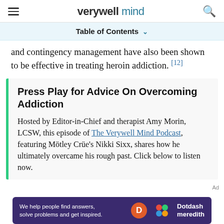verywell mind
Table of Contents
and contingency management have also been shown to be effective in treating heroin addiction. [12]
Press Play for Advice On Overcoming Addiction
Hosted by Editor-in-Chief and therapist Amy Morin, LCSW, this episode of The Verywell Mind Podcast, featuring Mötley Crüe's Nikki Sixx, shares how he ultimately overcame his rough past. Click below to listen now.
[Figure (other): Dotdash Meredith advertisement banner with text: We help people find answers, solve problems and get inspired.]